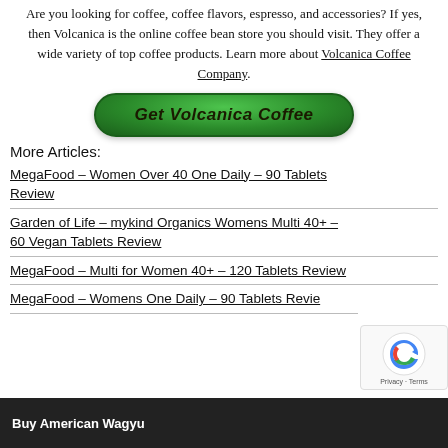Are you looking for coffee, coffee flavors, espresso, and accessories? If yes, then Volcanica is the online coffee bean store you should visit. They offer a wide variety of top coffee products. Learn more about Volcanica Coffee Company.
[Figure (other): Green oval button with italic bold text 'Get Volcanica Coffee']
More Articles:
MegaFood – Women Over 40 One Daily – 90 Tablets Review
Garden of Life – mykind Organics Womens Multi 40+ – 60 Vegan Tablets Review
MegaFood – Multi for Women 40+ – 120 Tablets Review
MegaFood – Womens One Daily – 90 Tablets Review
[Figure (photo): Bottom banner with text 'Buy American Wagyu' on dark background]